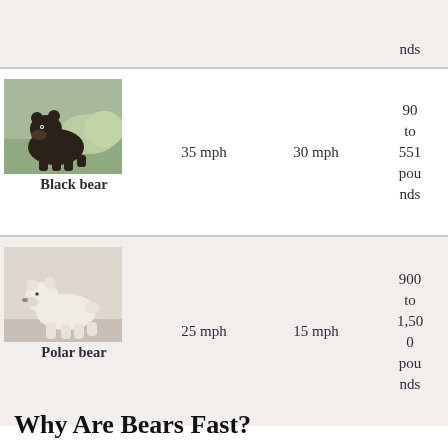| Animal | Top Speed | Average Speed | Weight |
| --- | --- | --- | --- |
| Black bear | 35 mph | 30 mph | 90 to 551 pounds |
| Polar bear | 25 mph | 15 mph | 900 to 1,500 pounds |
Why Are Bears Fast?